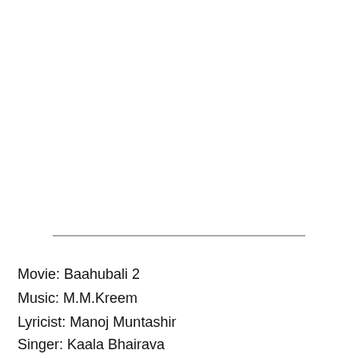[Figure (screenshot): Music player bar with play button, track title 'Play "BollyMeaning - Hin..."', subtitle 'on Amazon Music Unlimited (ad)', progress line, and speaker/volume button]
Movie: Baahubali 2
Music: M.M.Kreem
Lyricist: Manoj Muntashir
Singer: Kaala Bhairava
Label: Zee Music Company